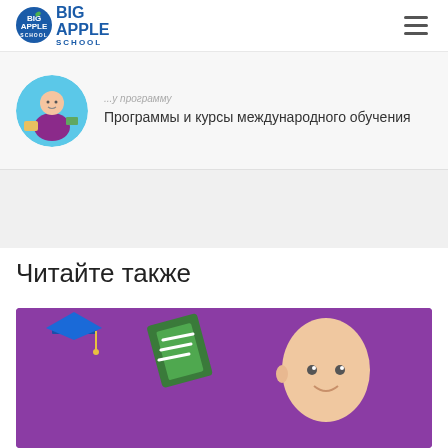BIG APPLE SCHOOL
[Figure (illustration): Circular avatar illustration of a person with school/education theme on light blue background]
Программы и курсы международного обучения
Читайте также
[Figure (illustration): Purple background illustration with graduation cap, green tablet/book, and bald cartoon character face]